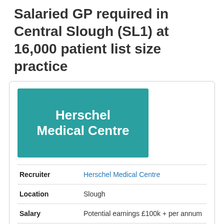Salaried GP required in Central Slough (SL1) at 16,000 patient list size practice
[Figure (logo): Herschel Medical Centre logo — teal/green rectangle with white bold text reading 'Herschel Medical Centre']
| Recruiter | Herschel Medical Centre |
| Location | Slough |
| Salary | Potential earnings £100k + per annum |
| Starts | 16 May 2022 |